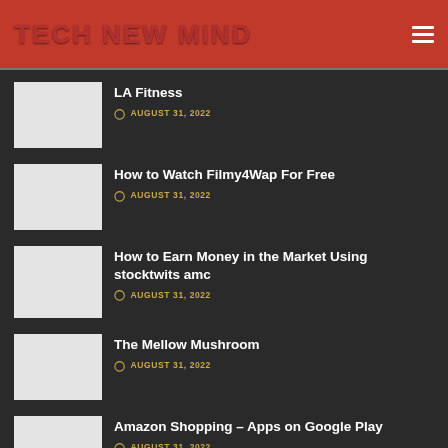TECH NEW MIND
LA Fitness — AUGUST 31, 2022
How to Watch Filmy4Wap For Free — AUGUST 31, 2022
How to Earn Money in the Market Using stocktwits amc — AUGUST 31, 2022
The Mellow Mushroom — AUGUST 31, 2022
Amazon Shopping – Apps on Google Play — AUGUST 31, 2022